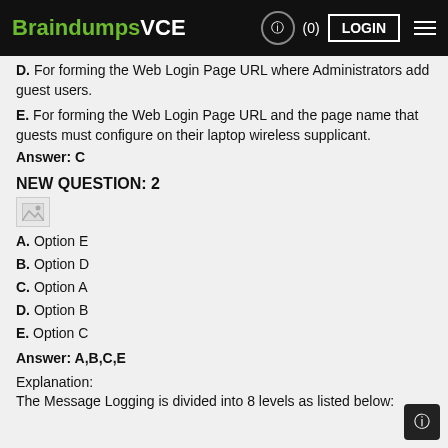BraindumpsVCE (0) LOGIN
D. For forming the Web Login Page URL where Administrators add guest users.
E. For forming the Web Login Page URL and the page name that guests must configure on their laptop wireless supplicant.
Answer: C
NEW QUESTION: 2
[Figure (photo): Broken image placeholder]
A. Option E
B. Option D
C. Option A
D. Option B
E. Option C
Answer: A,B,C,E
Explanation:
The Message Logging is divided into 8 levels as listed below: